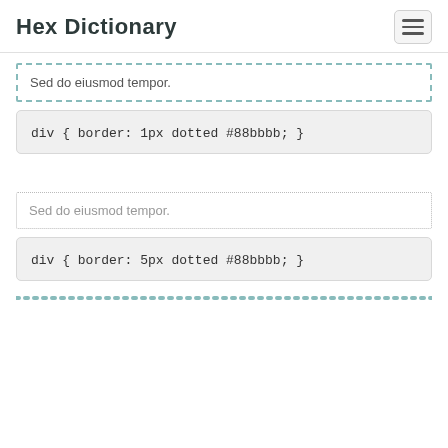Hex Dictionary
Sed do eiusmod tempor.
div { border: 1px dotted #88bbbb; }
Sed do eiusmod tempor.
div { border: 5px dotted #88bbbb; }